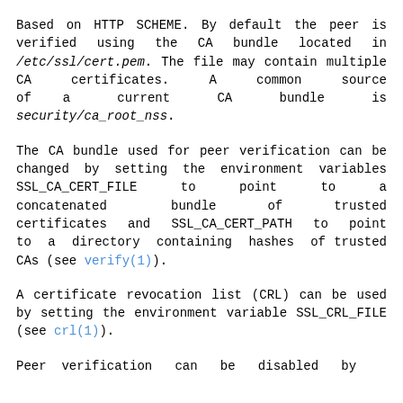Based on HTTP SCHEME. By default the peer is verified using the CA bundle located in /etc/ssl/cert.pem. The file may contain multiple CA certificates. A common source of a current CA bundle is security/ca_root_nss.
The CA bundle used for peer verification can be changed by setting the environment variables SSL_CA_CERT_FILE to point to a concatenated bundle of trusted certificates and SSL_CA_CERT_PATH to point to a directory containing hashes of trusted CAs (see verify(1)).
A certificate revocation list (CRL) can be used by setting the environment variable SSL_CRL_FILE (see crl(1)).
Peer verification can be disabled by